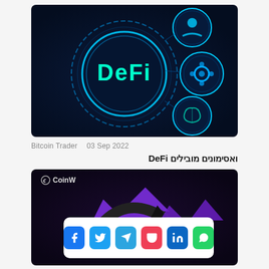[Figure (photo): DeFi technology concept image with glowing blue circular DeFi logo and interconnected gear, brain, and person icons on dark background]
Bitcoin Trader   03 Sep 2022
ואסימונים מובילים DeFi
[Figure (photo): CoinW branded image with purple arrows and dark background showing cryptocurrency trading visuals]
[Figure (infographic): Social sharing bar with Facebook, Twitter, Telegram, Pocket, LinkedIn, and WhatsApp icons]